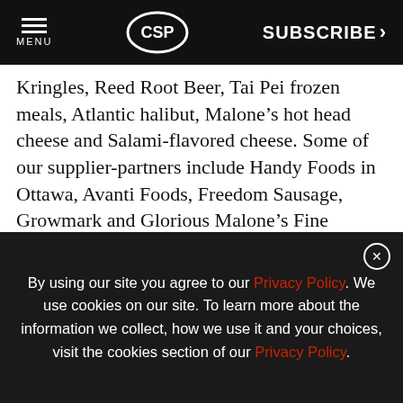MENU | CSP | SUBSCRIBE >
Kringles, Reed Root Beer, Tai Pei frozen meals, Atlantic halibut, Malone’s hot head cheese and Salami-flavored cheese. Some of our supplier-partners include Handy Foods in Ottawa, Avanti Foods, Freedom Sausage, Growmark and Glorious Malone’s Fine Sausage.”
Retail differentiation in the local marke and ar
[Figure (screenshot): Advertisement banner: Cuban Rounds cigars - NOW AVAILABLE: TORO FRESHPACK - LEARN MORE button]
[Figure (screenshot): Google reCAPTCHA badge with Privacy-Terms link]
By using our site you agree to our Privacy Policy. We use cookies on our site. To learn more about the information we collect, how we use it and your choices, visit the cookies section of our Privacy Policy.